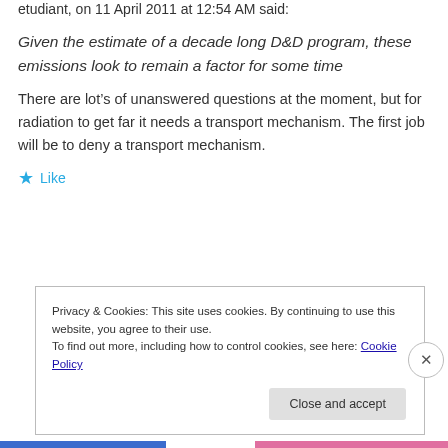etudiant, on 11 April 2011 at 12:54 AM said:
Given the estimate of a decade long D&D program, these emissions look to remain a factor for some time
There are lot’s of unanswered questions at the moment, but for radiation to get far it needs a transport mechanism. The first job will be to deny a transport mechanism.
★ Like
Privacy & Cookies: This site uses cookies. By continuing to use this website, you agree to their use.
To find out more, including how to control cookies, see here: Cookie Policy
Close and accept